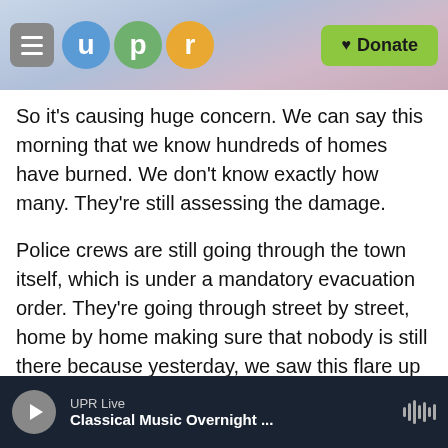[Figure (screenshot): UPR website navigation bar with hamburger menu, UPR logo (u, p, r circles in blue, green, orange), and green Donate button]
So it's causing huge concern. We can say this morning that we know hundreds of homes have burned. We don't know exactly how many. They're still assessing the damage.
Police crews are still going through the town itself, which is under a mandatory evacuation order. They're going through street by street, home by home making sure that nobody is still there because yesterday, we saw this flare up really quickly with hot temperatures and winds. And they're looking at expecting similar weather again today, really hot scorching temperatures and
UPR Live
Classical Music Overnight ...